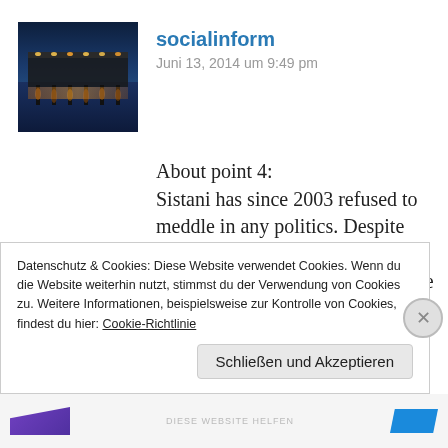[Figure (photo): Avatar thumbnail: nighttime photo of a pier with lights reflecting on water, warm orange and blue tones]
socialinform
Juni 13, 2014 um 9:49 pm
About point 4:
Sistani has since 2003 refused to meddle in any politics. Despite ongoing and almost one sided violence against Shiite civilians he has never condemened Sunnis. His speeches are completely inclusive they address the people of Iraq no matter if Shiite or Sunni.
Datenschutz & Cookies: Diese Website verwendet Cookies. Wenn du die Website weiterhin nutzt, stimmst du der Verwendung von Cookies zu. Weitere Informationen, beispielsweise zur Kontrolle von Cookies, findest du hier: Cookie-Richtlinie
Schließen und Akzeptieren